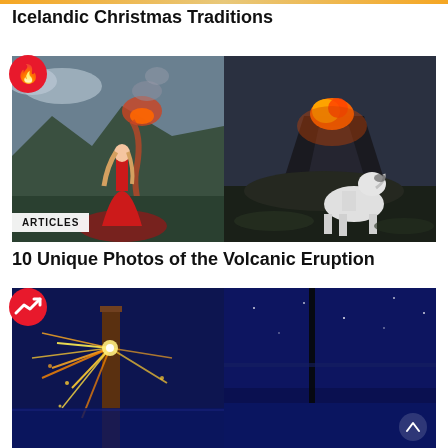Icelandic Christmas Traditions
[Figure (photo): Two-photo collage: left shows woman in red dress facing volcanic eruption in Iceland; right shows white dog howling in front of volcanic eruption at night]
ARTICLES
10 Unique Photos of the Volcanic Eruption
[Figure (photo): Two-photo collage showing fireworks/sparks in dark blue setting, partially visible]